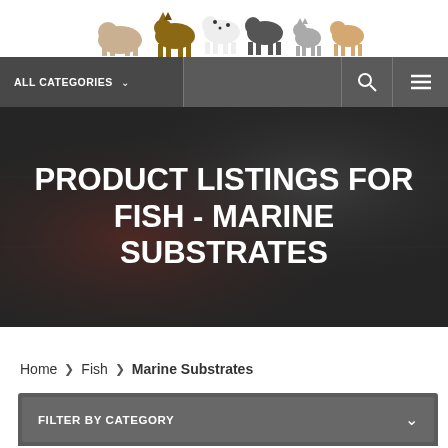[Figure (illustration): Pet store website header showing various animals including dogs, cats and other pets arranged in a row against white background]
ALL CATEGORIES  🔍  ≡
PRODUCT LISTINGS FOR FISH - MARINE SUBSTRATES
Home › Fish › Marine Substrates
FILTER BY CATEGORY